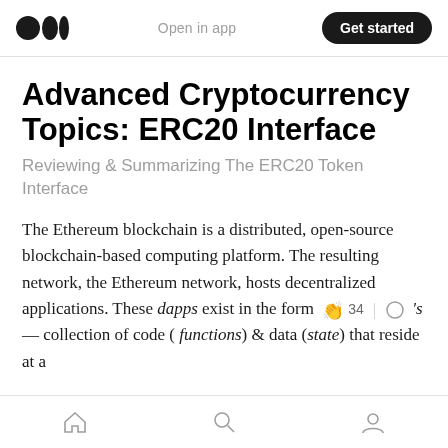Open in app | Get started
Advanced Cryptocurrency Topics: ERC20 Interface
Reviewing & Summarizing The ERC20 Token Interface
The Ethereum blockchain is a distributed, open-source blockchain-based computing platform. The resulting network, the Ethereum network, hosts decentralized applications. These dapps exist in the form [34 claps] 's — collection of code ( functions) & data (state) that reside at a
Home | Search | Profile